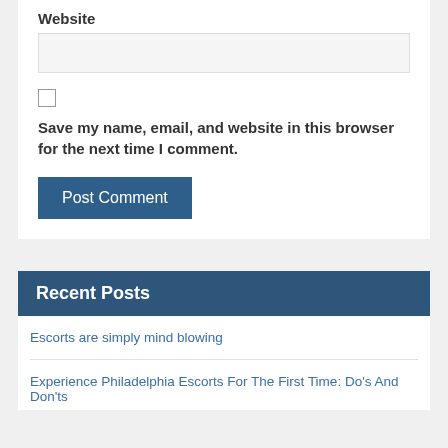Website
Save my name, email, and website in this browser for the next time I comment.
Post Comment
Recent Posts
Escorts are simply mind blowing
Experience Philadelphia Escorts For The First Time: Do's And Don'ts